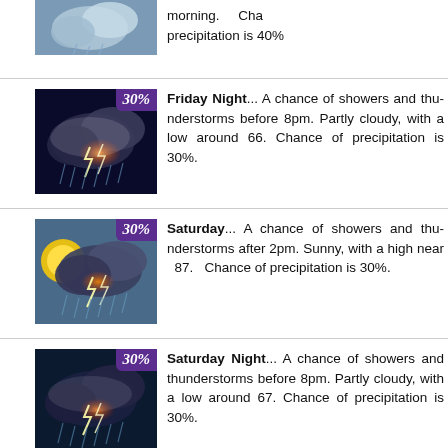[Figure (photo): Partial weather icon for previous forecast entry (storm clouds, top portion only)]
morning. Chance of precipitation is 40%.
[Figure (photo): Weather icon showing storm clouds with lightning and rain, with 30% badge]
Friday Night... A chance of showers and thunderstorms before 8pm. Partly cloudy, with a low around 66. Chance of precipitation is 30%.
[Figure (photo): Weather icon showing storm clouds with lightning and rain and partial sun, with 30% badge]
Saturday... A chance of showers and thunderstorms after 2pm. Sunny, with a high near 87. Chance of precipitation is 30%.
[Figure (photo): Weather icon showing storm clouds with lightning and rain, with 30% badge]
Saturday Night... A chance of showers and thunderstorms before 8pm. Partly cloudy, with a low around 67. Chance of precipitation is 30%.